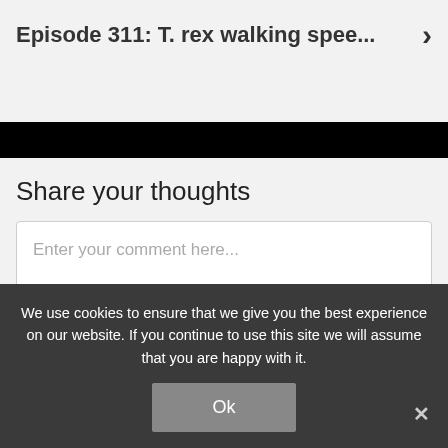Episode 311: T. rex walking spee...
Share your thoughts
Enter your comment here...
We use cookies to ensure that we give you the best experience on our website. If you continue to use this site we will assume that you are happy with it.
Ok